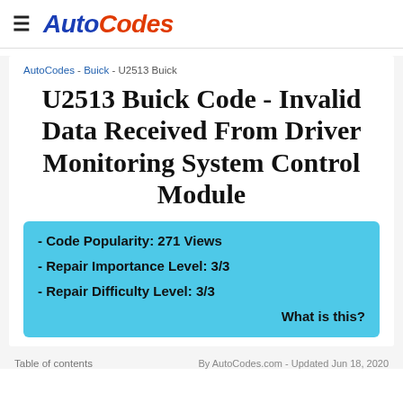AutoCodes
AutoCodes - Buick - U2513 Buick
U2513 Buick Code - Invalid Data Received From Driver Monitoring System Control Module
- Code Popularity: 271 Views
- Repair Importance Level: 3/3
- Repair Difficulty Level: 3/3
What is this?
Table of contents    By AutoCodes.com - Updated Jun 18, 2020